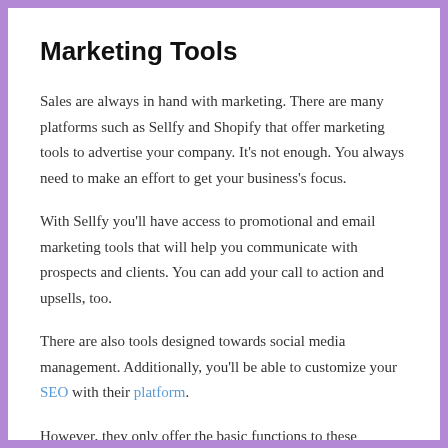Marketing Tools
Sales are always in hand with marketing. There are many platforms such as Sellfy and Shopify that offer marketing tools to advertise your company. It's not enough. You always need to make an effort to get your business's focus.
With Sellfy you'll have access to promotional and email marketing tools that will help you communicate with prospects and clients. You can add your call to action and upsells, too.
There are also tools designed towards social media management. Additionally, you'll be able to customize your SEO with their platform.
However, they only offer the basic functions to these devices. In the event that you already have a massive business and plan to go all out on your marketing strategy. In that case, Sellfy might be a